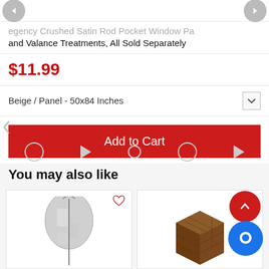egency Crushed Satin Rod Pocket Window Pa and Valance Treatments, All Sold Separately
$11.99
Beige / Panel - 50x84 Inches
Add to Cart
You may also like
[Figure (photo): Gray garment bag with zipper, hanging storage bag with clear window]
[Figure (photo): Dark brown foldable storage box/organizer]